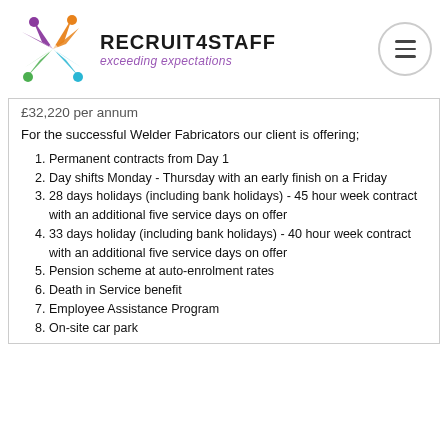[Figure (logo): Recruit4Staff logo with colorful starburst/people shapes and text 'RECRUIT4STAFF exceeding expectations']
£32,220 per annum
For the successful Welder Fabricators our client is offering;
Permanent contracts from Day 1
Day shifts Monday - Thursday with an early finish on a Friday
28 days holidays (including bank holidays) - 45 hour week contract with an additional five service days on offer
33 days holiday (including bank holidays) - 40 hour week contract with an additional five service days on offer
Pension scheme at auto-enrolment rates
Death in Service benefit
Employee Assistance Program
On-site car park